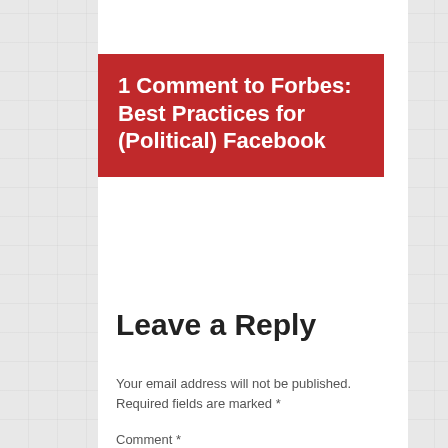1 Comment to Forbes: Best Practices for (Political) Facebook
Leave a Reply
Your email address will not be published. Required fields are marked *
Comment *